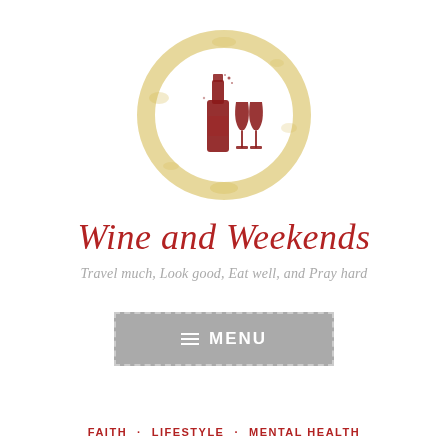[Figure (logo): A wine bottle and two wine glasses in dark red/maroon watercolor style, centered inside a circular yellow-gold wine stain ring watercolor illustration.]
Wine and Weekends
Travel much, Look good, Eat well, and Pray hard
≡ MENU
FAITH · LIFESTYLE · MENTAL HEALTH